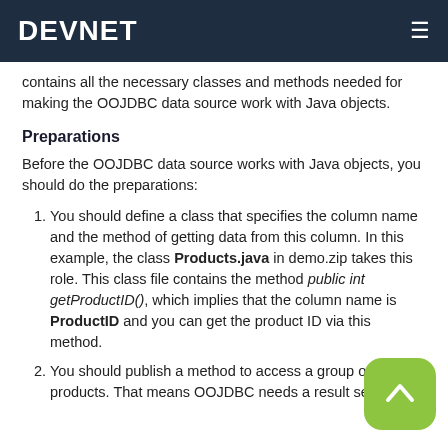DEVNET
contains all the necessary classes and methods needed for making the OOJDBC data source work with Java objects.
Preparations
Before the OOJDBC data source works with Java objects, you should do the preparations:
You should define a class that specifies the column name and the method of getting data from this column. In this example, the class Products.java in demo.zip takes this role. This class file contains the method public int getProductID(), which implies that the column name is ProductID and you can get the product ID via this method.
You should publish a method to access a group of products. That means OOJDBC needs a result set with